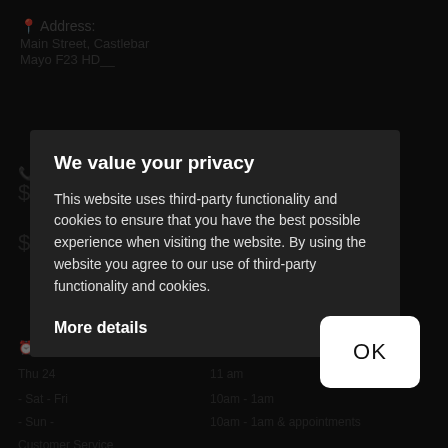[Figure (screenshot): Dark background showing a website's location/hours page with dimmed content including Address, Main Street Castlebar, Mayo F23 HD__, phone number, dollar signs, blocked text, Opening Hours section, and Customer Service link.]
We value your privacy
This website uses third-party functionality and cookies to ensure that you have the best possible experience when visiting the website. By using the website you agree to our use of third-party functionality and cookies.
More details
OK